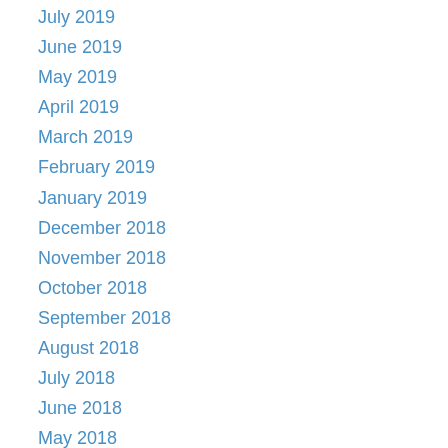July 2019
June 2019
May 2019
April 2019
March 2019
February 2019
January 2019
December 2018
November 2018
October 2018
September 2018
August 2018
July 2018
June 2018
May 2018
April 2018
March 2018
January 2018
December 2017
November 2017